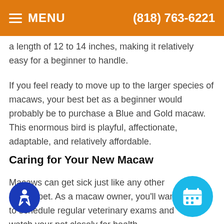MENU   (818) 763-6221
a length of 12 to 14 inches, making it relatively easy for a beginner to handle.
If you feel ready to move up to the larger species of macaws, your best bet as a beginner would probably be to purchase a Blue and Gold macaw. This enormous bird is playful, affectionate, adaptable, and relatively affordable.
Caring for Your New Macaw
Macaws can get sick just like any other kind of pet. As a macaw owner, you'll want to schedule regular veterinary exams and watch your pet closely for health problems. Don't be alarmed if your macaw sneezes occasionally; this is normal behavior.